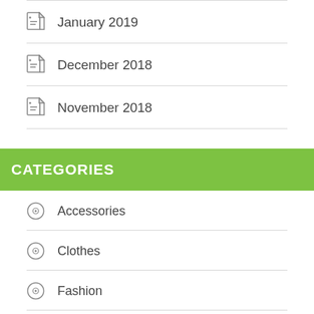January 2019
December 2018
November 2018
CATEGORIES
Accessories
Clothes
Fashion
Featured